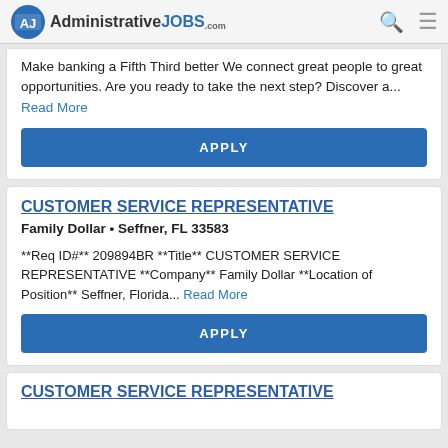AdministrativeJOBS.com
Make banking a Fifth Third better We connect great people to great opportunities. Are you ready to take the next step? Discover a... Read More
APPLY
CUSTOMER SERVICE REPRESENTATIVE
Family Dollar • Seffner, FL 33583
**Req ID#** 209894BR **Title** CUSTOMER SERVICE REPRESENTATIVE **Company** Family Dollar **Location of Position** Seffner, Florida... Read More
APPLY
CUSTOMER SERVICE REPRESENTATIVE